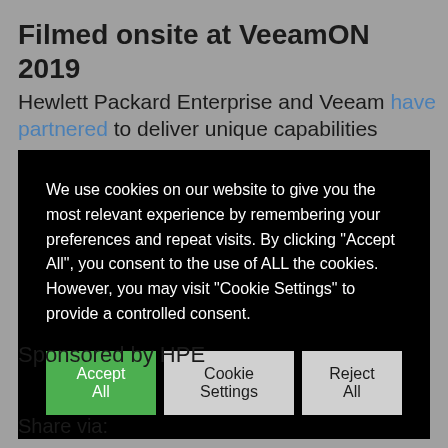Filmed onsite at VeeamON 2019
Hewlett Packard Enterprise and Veeam have partnered to deliver unique capabilities
We use cookies on our website to give you the most relevant experience by remembering your preferences and repeat visits. By clicking “Accept All”, you consent to the use of ALL the cookies. However, you may visit “Cookie Settings” to provide a controlled consent.
Sponsored by HPE
Share via: